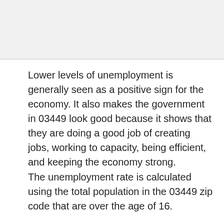[Figure (other): A placeholder image area at the top of the page, shown as a light gray rectangle.]
Lower levels of unemployment is generally seen as a positive sign for the economy. It also makes the government in 03449 look good because it shows that they are doing a good job of creating jobs, working to capacity, being efficient, and keeping the economy strong.
The unemployment rate is calculated using the total population in the 03449 zip code that are over the age of 16.